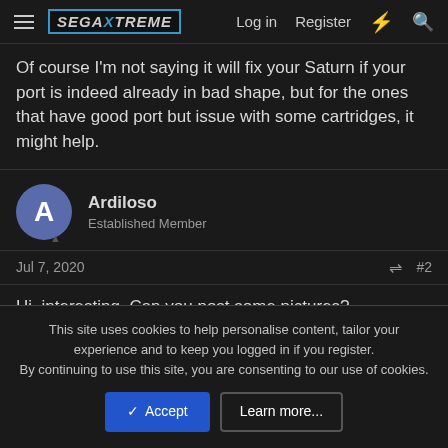SegaXtreme — Log in   Register
Of course I'm not saying it will fix your Saturn if your port is indeed already in bad shape, but for the ones that have good port but issue with some cartridges, it might help.
Ardiloso
Established Member
Jul 7, 2020   #2
Hi, interesting. Can you post some pictures?
nando
This site uses cookies to help personalise content, tailor your experience and to keep you logged in if you register.
By continuing to use this site, you are consenting to our use of cookies.
[Accept] [Learn more...]